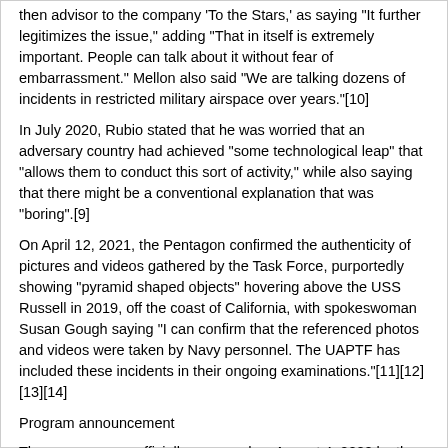then advisor to the company 'To the Stars,' as saying 'It further legitimizes the issue,' adding 'That in itself is extremely important. People can talk about it without fear of embarrassment.' Mellon also said 'We are talking dozens of incidents in restricted military airspace over years.'[10]
In July 2020, Rubio stated that he was worried that an adversary country had achieved "some technological leap" that "allows them to conduct this sort of activity," while also saying that there might be a conventional explanation that was "boring".[9]
On April 12, 2021, the Pentagon confirmed the authenticity of pictures and videos gathered by the Task Force, purportedly showing "pyramid shaped objects" hovering above the USS Russell in 2019, off the coast of California, with spokeswoman Susan Gough saying "I can confirm that the referenced photos and videos were taken by Navy personnel. The UAPTF has included these incidents in their ongoing examinations."[11][12][13][14]
Program announcement
The program was officially approved on August 4, 2020 by the Deputy Secretary of Defense David Norquist, and announced on August 14, 2020. "The mission of the task force is to detect, analyze and catalog UAPs that could potentially pose a threat to U.S. national security."